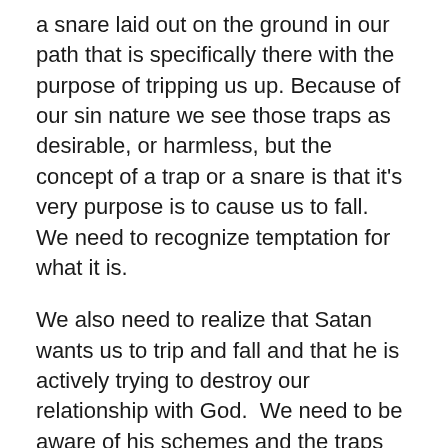a snare laid out on the ground in our path that is specifically there with the purpose of tripping us up. Because of our sin nature we see those traps as desirable, or harmless, but the concept of a trap or a snare is that it's very purpose is to cause us to fall.  We need to recognize temptation for what it is.
We also need to realize that Satan wants us to trip and fall and that he is actively trying to destroy our relationship with God.  We need to be aware of his schemes and the traps and snares that he intentionally puts in our way.
When those temptations arise we have the opportunity to choose to follow what we know to be God's will for us or we can embrace the temptation and move into sin. The more we choose to follow God's will and turn away from sin, the more we are going to get to know God's will